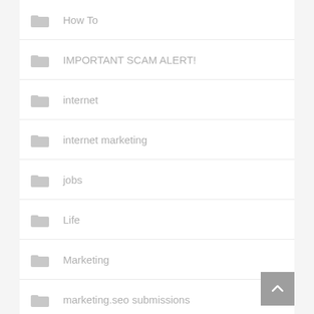How To
IMPORTANT SCAM ALERT!
internet
internet marketing
jobs
Life
Marketing
marketing.seo submissions
Member Spotlight: Worldprofit Platinum VIP Member
New Worldprofit Products and Services
non fiction